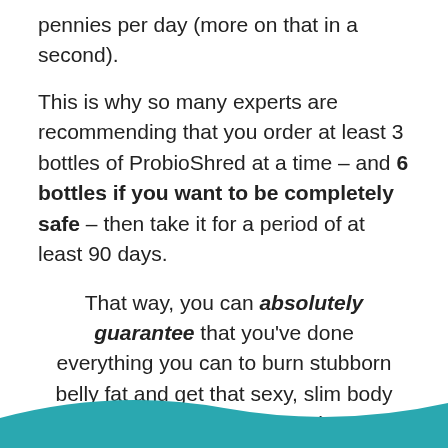pennies per day (more on that in a second).
This is why so many experts are recommending that you order at least 3 bottles of ProbioShred at a time – and 6 bottles if you want to be completely safe – then take it for a period of at least 90 days.
That way, you can absolutely guarantee that you've done everything you can to burn stubborn belly fat and get that sexy, slim body you've always wanted.